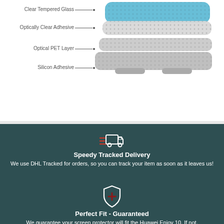[Figure (engineering-diagram): Exploded layer diagram of a screen protector showing 4 layers: Clear Tempered Glass (blue/top), Optically Clear Adhesive (dotted), Optical PET Layer (gray), Silicon Adhesive (bottom gray), with annotation lines pointing to labels on the left.]
[Figure (illustration): Delivery truck icon in white outline style on dark teal background]
Speedy Tracked Delivery
We use DHL Tracked for orders, so you can track your item as soon as it leaves us!
[Figure (illustration): Shield icon with a plus/cross symbol in dark red/maroon, white outline on dark teal background]
Perfect Fit - Guaranteed
We guarantee your screen protector will fit the Huawei Enjoy 10. If not,